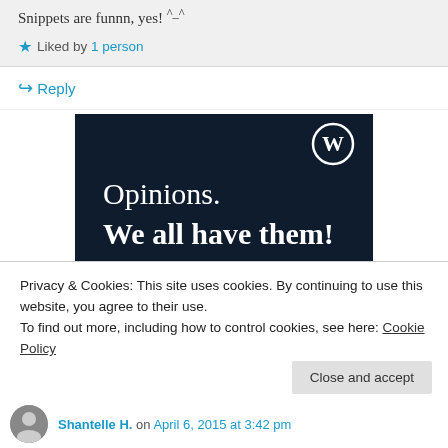Snippets are funnn, yes! ^_^
★ Liked by 1 person
↪ Reply
[Figure (illustration): WordPress advertisement banner with dark navy background, WordPress logo (W in circle) top right, white serif text reading 'Opinions. We all have them!' with a pink button at the bottom and a white circle element at bottom right.]
Privacy & Cookies: This site uses cookies. By continuing to use this website, you agree to their use.
To find out more, including how to control cookies, see here: Cookie Policy
Close and accept
Shantelle H. on April 6, 2015 at 3:42 pm